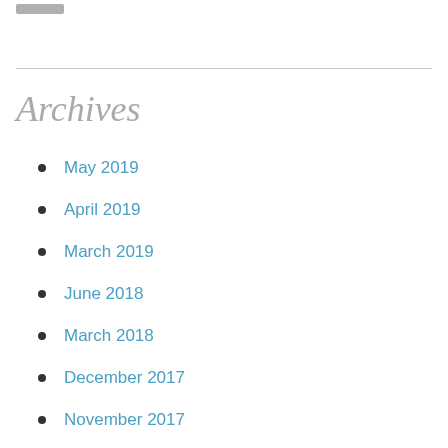Archives
May 2019
April 2019
March 2019
June 2018
March 2018
December 2017
November 2017
October 2017
September 2017